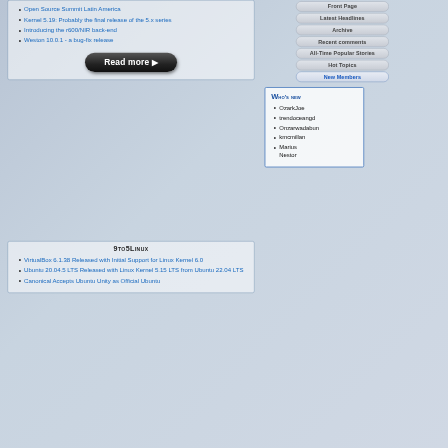Open Source Summit Latin America
Kernel 5.19: Probably the final release of the 5.x series
Introducing the r600/NIR back-end
Weston 10.0.1 - a bug-fix release
Read more ▶
9to5Linux
VirtualBox 6.1.38 Released with Initial Support for Linux Kernel 6.0
Ubuntu 20.04.5 LTS Released with Linux Kernel 5.15 LTS from Ubuntu 22.04 LTS
Canonical Accepts Ubuntu Unity as Official Ubuntu
Front Page
Latest Headlines
Archive
Recent comments
All-Time Popular Stories
Hot Topics
New Members
Who's New
OzarkJoe
trendoceangd
Onzarwadabun
kmcmillan
Marius Nestor